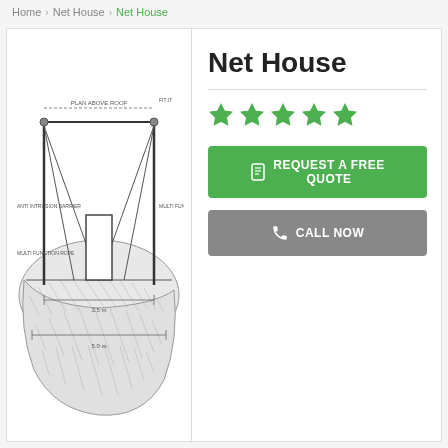Home > Net House > Net House
[Figure (engineering-diagram): Technical schematic/cross-section diagram of a Net House structure showing poles, netting, ground anchoring, and dimension annotations including foundation depth and pole height measurements.]
Net House
[Figure (other): 5 green star rating]
REQUEST A FREE QUOTE
CALL NOW